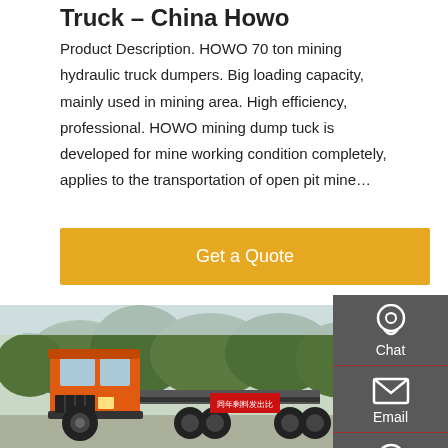Truck – China Howo
Product Description. HOWO 70 ton mining hydraulic truck dumpers. Big loading capacity, mainly used in mining area. High efficiency, professional. HOWO mining dump tuck is developed for mine working condition completely, applies to the transportation of open pit mine…
Get a Quote
[Figure (photo): Orange HOWO mining dump truck chassis parked outdoors with trees in background and a red sign visible]
[Figure (infographic): Sidebar with Chat, Email, Contact, and Top navigation icons on dark grey background]